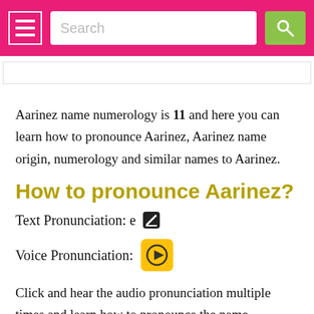Search
Aarinez name numerology is 11 and here you can learn how to pronounce Aarinez, Aarinez name origin, numerology and similar names to Aarinez.
How to pronounce Aarinez?
Text Pronunciation: e
Voice Pronunciation:
Click and hear the audio pronunciation multiple times and learn how to pronounce the name